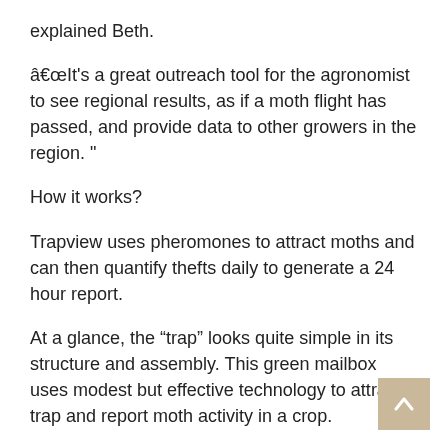explained Beth.
â€œIt's a great outreach tool for the agronomist to see regional results, as if a moth flight has passed, and provide data to other growers in the region. "
How it works?
Trapview uses pheromones to attract moths and can then quantify thefts daily to generate a 24 hour report.
At a glance, the “trap” looks quite simple in its structure and assembly. This green mailbox uses modest but effective technology to attract, trap and report moth activity in a crop.
To attract moths, the device is loaded with a pheromone specially selected to attract the moth you are looking for. Once the butterfly has entered the trap, it will stick to a sticky sheet on the floor of the trap. A camera within the unit will take photographs of the parasites captured and using machine